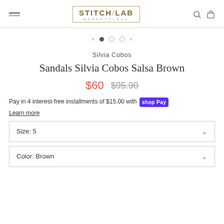STITCH/LAB MARKETPLACE
[Figure (infographic): Image carousel pagination: left arrow, filled dot, two empty dots, right arrow]
Silvia Cobos
Sandals Silvia Cobos Salsa Brown
$60  $95.90
Pay in 4 interest-free installments of $15.00 with shop Pay
Learn more
Size: 5
Color: Brown